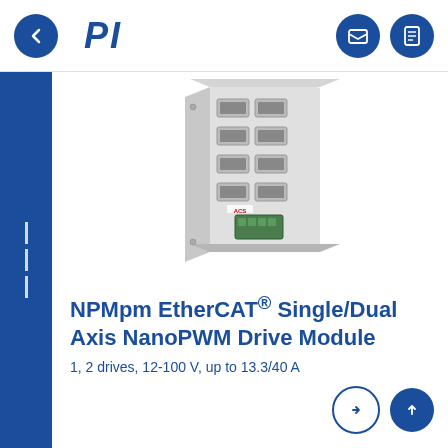[Figure (logo): PI (Physik Instrumente) company logo in bold dark blue italic text]
[Figure (photo): Photo of NPMpm EtherCAT Single/Dual Axis NanoPWM Drive Module hardware device, a rectangular grey electronic module with multiple connectors and ports on the front panel]
NPMpm EtherCAT® Single/Dual Axis NanoPWM Drive Module
1, 2 drives, 12-100 V, up to 13.3/40 A